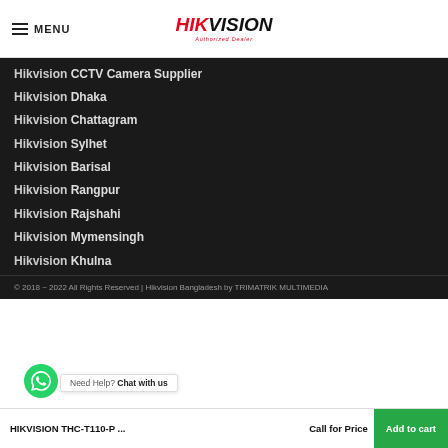MENU | HIKVISION Authorized Dealer
Hikvision CCTV Camera Supplier
Hikvision Dhaka
Hikvision Chattagram
Hikvision Sylhet
Hikvision Barisal
Hikvision Rangpur
Hikvision Rajshahi
Hikvision Mymensingh
Hikvision Khulna
© 2018 ~ 2022 All Rights Reserved | Hikvision Bangladesh by TRIMATRIK MULTIMEDIA
Need Help? Chat with us
HIKVISION THC-T110-P ... Call for Price Add to cart